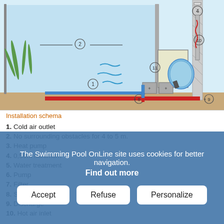[Figure (engineering-diagram): Installation schema of a heat pump system for a swimming pool. Shows numbered components: (1) cold air outlet, (2) pool with no surrounding obstacles annotation, (3) heat pump unit, (4) pipe with 0.50m minimum clearance, (5) water treatment, (6) pump, (7) filter (blue sphere), (8) suction connection, (9) discharge connection, (10) hot air inlet pipe, (11) additional component. Red pipes indicate warm water flow, blue pipes indicate cold water flow.]
Installation schema
1. Cold air outlet
2. No surrounding obstacles for 4 to 5 m.
3. Heat pump
4. 0,50m minimum
5. Water treatment
6. Pump
7. Filter
8. Suction
9. Discharge
10. Hot air inlet
The Swimming Pool OnLine site uses cookies for better navigation. Find out more
Accept | Refuse | Personalize